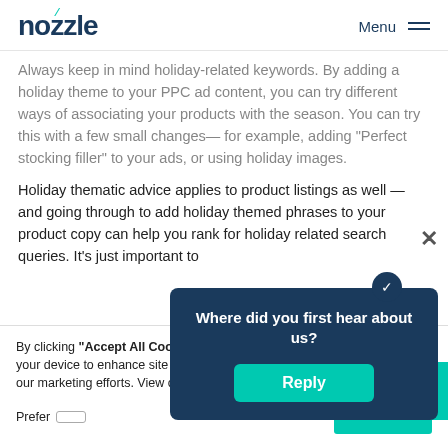nozzle   Menu
Always keep in mind holiday-related keywords. By adding a holiday theme to your PPC ad content, you can try different ways of associating your products with the season. You can try this with a few small changes— for example, adding “Perfect stocking filler” to your ads, or using holiday images.
Holiday thematic advice applies to product listings as well — and going through to add holiday themed phrases to your product copy can help you rank for holiday related search queries. It’s just important to
By clicking “Accept All Cookies”, you agree to the storing of cookies on your device to enhance site navigation, analyze site usage, and assist in our marketing efforts. View our Privacy Policy for more information.
Where did you first hear about us?
Reply